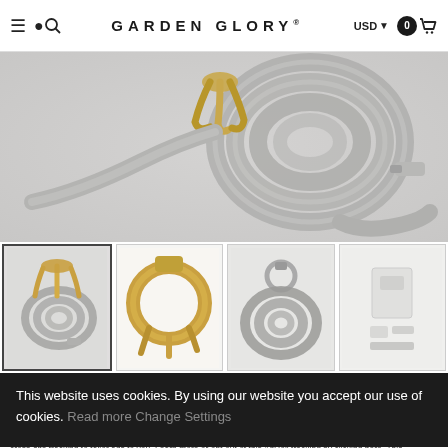≡  🔍  GARDEN GLORY®  USD ▾  0 🛒
[Figure (photo): Close-up product photo of a grey garden hose coiled and mounted on a white wall with a gold/brass claw-style hose hanger]
[Figure (photo): Four product thumbnail images: (1) grey hose coiled on gold claw hanger mounted on wall, (2) gold/brass claw hanger detail closeup, (3) grey hose coiled with silver ring holder, (4) white hose hanger packaging/parts]
This website uses cookies. By using our website you accept our use of cookies. Read more Change Settings
Accept and Close ✕
Your browser settings do not allow cross-site tracking for advertising. Click on this page to allow AdRoll to use cross-site tracking to tailor ads to you. Learn more or opt out of this AdRoll tracking by clicking here. This message only appears once.